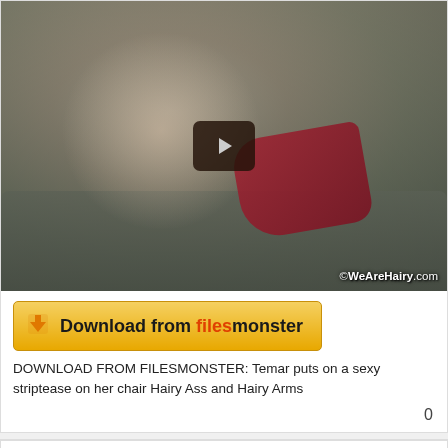[Figure (photo): Video thumbnail of a person on a couch with a play button overlay. Watermark reads ©WeAreHairy.com]
[Figure (other): Download from filesmonster button - yellow/orange gradient button with downward arrow icon]
DOWNLOAD FROM FILESMONSTER: Temar puts on a sexy striptease on her chair Hairy Ass and Hairy Arms
0
2022-04-30 15:43:07
#10  Share
filesmonster
Administrator
Posts: 581739
[Figure (photo): Avatar image with red heart background]